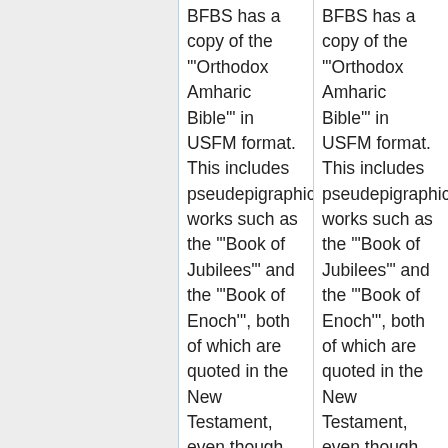BFBS has a copy of the '"Orthodox Amharic Bible'" in USFM format. This includes pseudepigraphic works such as the '"Book of Jubilees'" and the '"Book of Enoch'", both of which are quoted in the New Testament, even though they are absent from the Western canon. This topic is generating interest among NT scholars. [[User:David Haslam|David
BFBS has a copy of the '"Orthodox Amharic Bible'" in USFM format. This includes pseudepigraphic works such as the '"Book of Jubilees'" and the '"Book of Enoch'", both of which are quoted in the New Testament, even though they are absent from the Western canon. This topic is generating interest among NT scholars. [[User:David Haslam|David